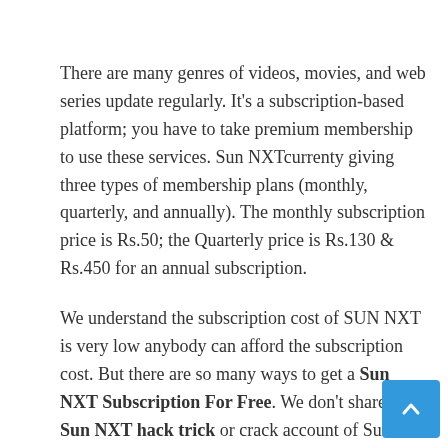There are many genres of videos, movies, and web series update regularly. It's a subscription-based platform; you have to take premium membership to use these services. Sun NXTcurrenty giving three types of membership plans (monthly, quarterly, and annually). The monthly subscription price is Rs.50; the Quarterly price is Rs.130 & Rs.450 for an annual subscription.
We understand the subscription cost of SUN NXT is very low anybody can afford the subscription cost. But there are so many ways to get a Sun NXT Subscription For Free. We don't share any Sun NXT hack trick or crack account of Sun NXT. There is some legit way get a free subscription by using Sun NXT Coupons Trail & Tricks. Let's look at Sun NXT Coupon